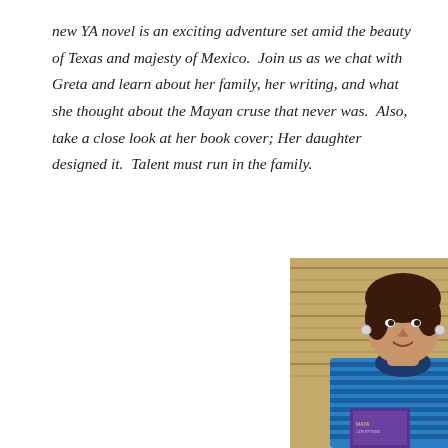new YA novel is an exciting adventure set amid the beauty of Texas and majesty of Mexico.  Join us as we chat with Greta and learn about her family, her writing, and what she thought about the Mayan cruse that never was.  Also, take a close look at her book cover; Her daughter designed it.  Talent must run in the family.
[Figure (photo): A woman with dark hair smiling, wearing a blue striped turtleneck sweater and hoop earrings, holding a book. Background appears to be a bamboo or wicker wall.]